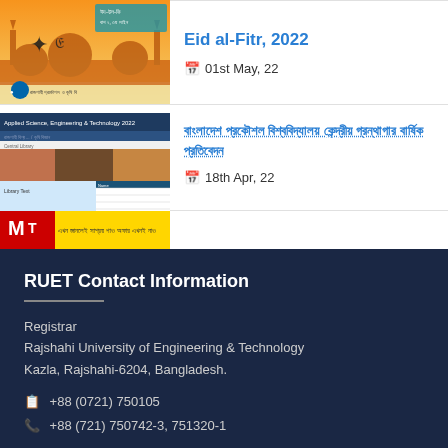[Figure (screenshot): Orange/golden Eid al-Fitr 2022 poster image with Bengali text and mosque silhouette]
Eid al-Fitr, 2022
📅 01st May, 22
[Figure (screenshot): Screenshot of RUET Central Library website with navigation and table]
বাংলাদেশ প্রকৌশল ও প্রযুক্তি বিশ্ববিদ্যালয় কেন্দ্রীয় গ্রন্থাগার
📅 18th Apr, 22
[Figure (screenshot): Partial third card with yellow background and Bengali text]
RUET Contact Information
Registrar
Rajshahi University of Engineering & Technology
Kazla, Rajshahi-6204, Bangladesh.
+88 (0721) 750105
+88 (721) 750742-3, 751320-1